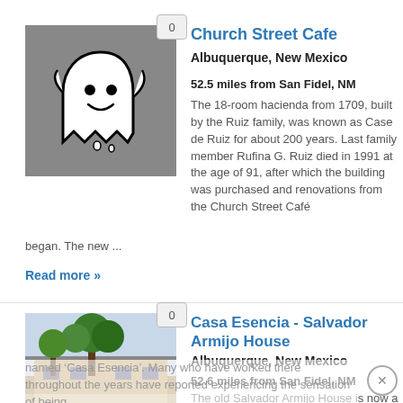[Figure (illustration): Ghost cartoon illustration on grey background with badge showing '0']
Church Street Cafe
Albuquerque, New Mexico
52.5 miles from San Fidel, NM
The 18-room hacienda from 1709, built by the Ruiz family, was known as Case de Ruiz for about 200 years. Last family member Rufina G. Ruiz died in 1991 at the age of 91, after which the building was purchased and renovations from the Church Street Café began. The new ...
Read more »
[Figure (photo): Photograph of a building with trees in front, badge showing '0']
Casa Esencia - Salvador Armijo House
Albuquerque, New Mexico
52.6 miles from San Fidel, NM
The old Salvador Armijo House is now a hotel named 'Casa Esencia'. Many who have worked there throughout the years have reported experiencing the sensation of being